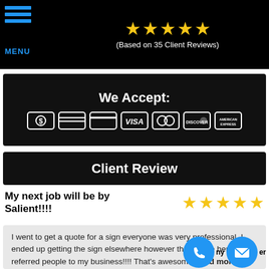[Figure (illustration): Top header bar with hamburger menu icon and MENU text on left, five gold stars and '(Based on 35 Client Reviews)' text on dark/black background]
[Figure (infographic): Black banner reading 'We Accept:' with payment method icons: cash, two card icons, Visa, Mastercard, Discover, American Express]
Client Review
My next job will be by Salient!!!!
[Figure (illustration): Five gold stars rating]
I went to get a quote for a sign everyone was very professional. I ended up getting the sign elsewhere however the people here have referred people to my business!!!! That's awesom... read more
[Figure (illustration): Two circular blue buttons at bottom right: phone icon and envelope/mail icon, with partial text 'ny' and 'er' visible]